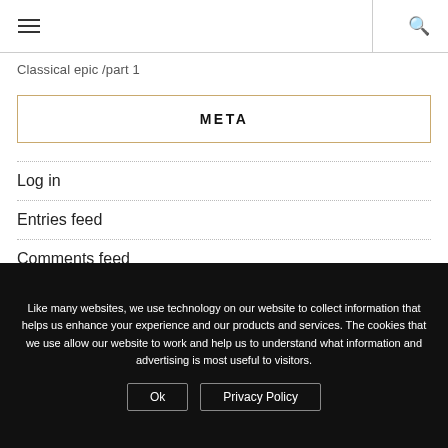Classical epic /part 1
META
Log in
Entries feed
Comments feed
WordPress.org
Like many websites, we use technology on our website to collect information that helps us enhance your experience and our products and services. The cookies that we use allow our website to work and help us to understand what information and advertising is most useful to visitors.
Ok | Privacy Policy